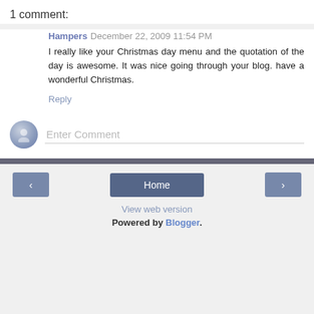1 comment:
Hampers December 22, 2009 11:54 PM
I really like your Christmas day menu and the quotation of the day is awesome. It was nice going through your blog. have a wonderful Christmas.
Reply
[Figure (other): Comment input field with user avatar icon and 'Enter Comment' placeholder text]
Home | < | > | View web version | Powered by Blogger.